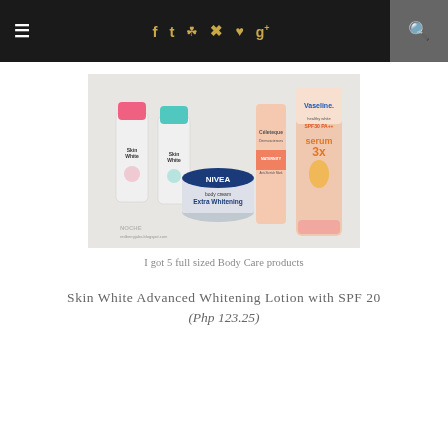≡  f  t  [ig]  [p]  [heart]  g+  [search]
[Figure (photo): Five body care products arranged together: two SkinWhite lotion bottles (pink and teal caps), a NIVEA Extra Whitening body cream tin, a Céleteque Dermosciences maternity anti-stretch mark cream tube, and a Vaseline healthy white SPF30 PA++ serum tube. Watermark says redberryjaba.blogspot.com]
I got 5 full sized Body Care products
Skin White Advanced Whitening Lotion with SPF 20
(Php 123.25)